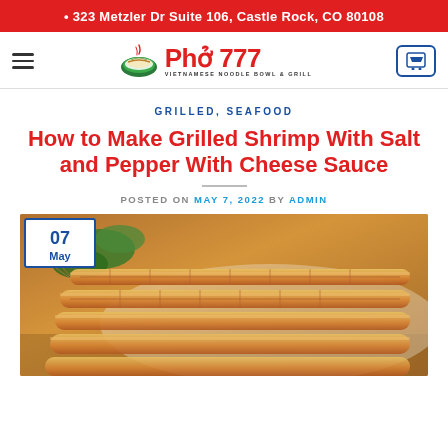323 Metzler Dr Suite 106, Castle Rock, CO 80108
[Figure (logo): Pho 777 Vietnamese Noodle Bowl & Grill logo with bowl icon]
GRILLED, SEAFOOD
How to Make Grilled Shrimp With Salt and Pepper With Cheese Sauce
POSTED ON MAY 7, 2022 BY ADMIN
[Figure (photo): Grilled shrimp on skewers with cheese sauce, garnished with fresh herbs on a white plate on a wooden table. Date badge shows 07 May.]